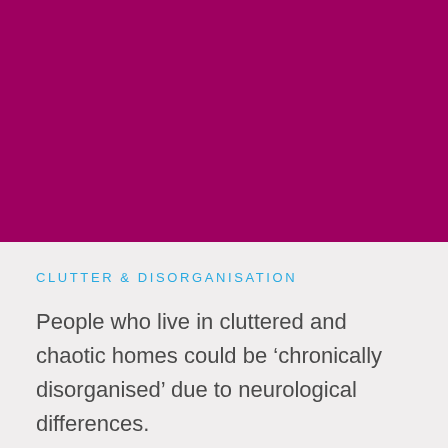[Figure (other): Solid magenta/dark pink rectangular background block occupying the top half of the page]
CLUTTER & DISORGANISATION
People who live in cluttered and chaotic homes could be ‘chronically disorganised’ due to neurological differences.